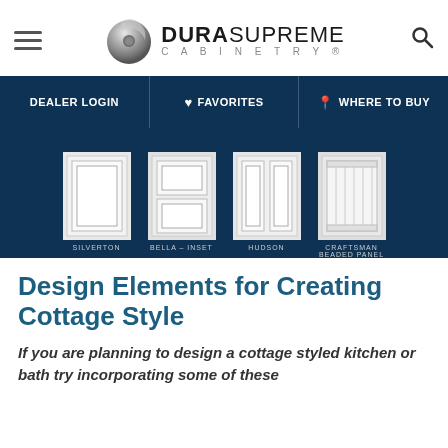[Figure (logo): Dura Supreme Cabinetry logo with metallic disc and bold wordmark]
DEALER LOGIN | FAVORITES | WHERE TO BUY
[Figure (photo): Carousel of cabinet door style samples: Silverton, Bella - Inset, Hudson, Craftsman Beaded Panel on dark navy background]
Design Elements for Creating Cottage Style
If you are planning to design a cottage styled kitchen or bath try incorporating some of these